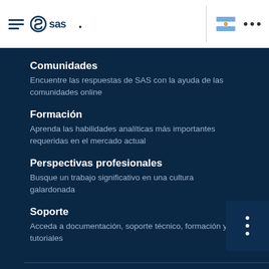SAS navigation menu header with SAS logo, Argentina flag, and menu dots
Comunidades
Encuentre las respuestas de SAS con la ayuda de las comunidades online
Formación
Aprenda las habilidades analíticas más importantes requeridas en el mercado actual
Perspectivas profesionales
Busque un trabajo significativo en una cultura galardonada
Soporte
Acceda a documentación, soporte técnico, formación y tutoriales